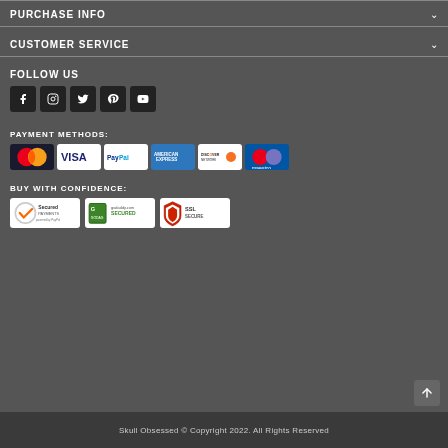PURCHASE INFO
CUSTOMER SERVICE
FOLLOW US
[Figure (infographic): Social media icons: Facebook, Instagram, Twitter, Pinterest, YouTube]
PAYMENT METHODS:
[Figure (infographic): Payment method logos: MasterCard, Visa, PayPal, American Express, Discover Network, Maestro]
BUY WITH CONFIDENCE:
[Figure (infographic): Security badges: Secured Payments powered by PayPal, GoDaddy.com Secured, SSL Secure]
Skull Obsessed © Copyright 2022. All Rights Reserved